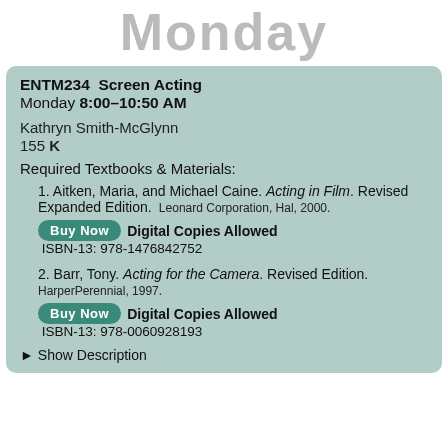Monday
ENTM234  Screen Acting
Monday 8:00–10:50 AM
Kathryn Smith-McGlynn
155 K
Required Textbooks & Materials:
1. Aitken, Maria, and Michael Caine. Acting in Film. Revised Expanded Edition. Leonard Corporation, Hal, 2000. [Buy Now] Digital Copies Allowed  ISBN-13: 978-1476842752
2. Barr, Tony. Acting for the Camera. Revised Edition. HarperPerennial, 1997. [Buy Now] Digital Copies Allowed  ISBN-13: 978-0060928193
▶ Show Description